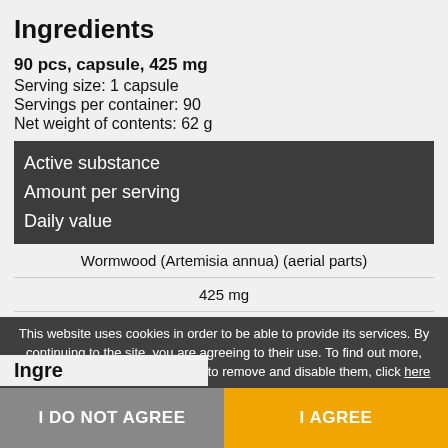Ingredients
90 pcs, capsule, 425 mg
Serving size: 1 capsule
Servings per container: 90
Net weight of contents: 62 g
| Active substance | Amount per serving | Daily value |
| --- | --- | --- |
| Wormwood (Artemisia annua) (aerial parts) | 425 mg |  |
This website uses cookies in order to be able to provide its services. By continuing to the site, you are agreeing to their use. To find out more, including the information on how to remove and disable them, click here
I DO NOT AGREE
I AGREE
Ingredients